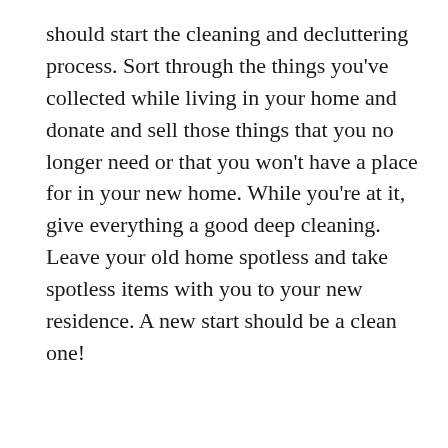should start the cleaning and decluttering process. Sort through the things you've collected while living in your home and donate and sell those things that you no longer need or that you won't have a place for in your new home. While you're at it, give everything a good deep cleaning. Leave your old home spotless and take spotless items with you to your new residence. A new start should be a clean one!